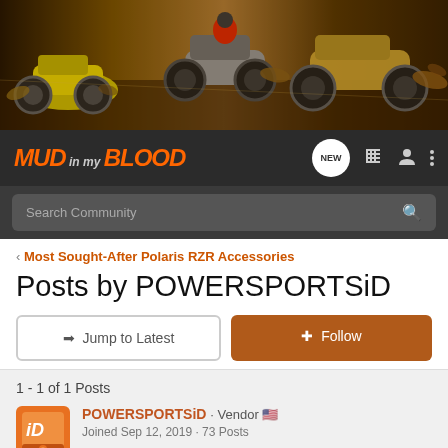[Figure (photo): ATV/UTV off-road vehicles racing through mud, panoramic banner image]
MUD in my BLOOD - Navigation bar with NEW, list, user, and menu icons
Search Community
< Most Sought-After Polaris RZR Accessories
Posts by POWERSPORTSiD
→ Jump to Latest
+ Follow
1 - 1 of 1 Posts
POWERSPORTSiD · Vendor 🇺🇸
Joined Sep 12, 2019 · 73 Posts